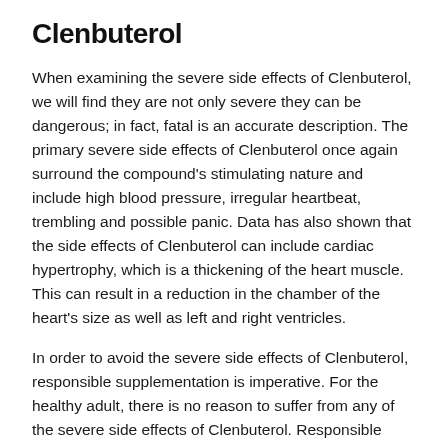Clenbuterol
When examining the severe side effects of Clenbuterol, we will find they are not only severe they can be dangerous; in fact, fatal is an accurate description. The primary severe side effects of Clenbuterol once again surround the compound's stimulating nature and include high blood pressure, irregular heartbeat, trembling and possible panic. Data has also shown that the side effects of Clenbuterol can include cardiac hypertrophy, which is a thickening of the heart muscle. This can result in a reduction in the chamber of the heart's size as well as left and right ventricles.
In order to avoid the severe side effects of Clenbuterol, responsible supplementation is imperative. For the healthy adult, there is no reason to suffer from any of the severe side effects of Clenbuterol. Responsible supplementation can be achieved by holding to the following rules: